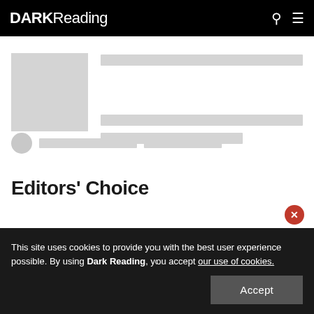DARK Reading
[Figure (other): Loading skeleton placeholder showing a rectangular image placeholder on the left and three horizontal skeleton lines on the right, plus an author avatar circle and two name/date skeleton lines below]
Editors' Choice
This site uses cookies to provide you with the best user experience possible. By using Dark Reading, you accept our use of cookies.